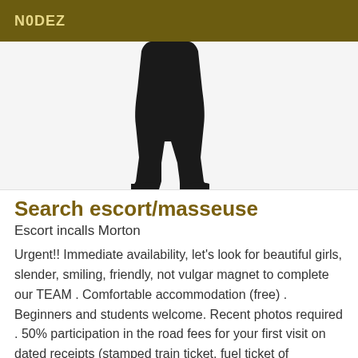N0DEZ
[Figure (illustration): Black silhouette of a person's lower body (legs and high heels) on a white/light grey background]
Search escort/masseuse
Escort incalls Morton
Urgent!! Immediate availability, let's look for beautiful girls, slender, smiling, friendly, not vulgar magnet to complete our TEAM . Comfortable accommodation (free) . Beginners and students welcome. Recent photos required . 50% participation in the road fees for your first visit on dated receipts (stamped train ticket, fuel ticket of